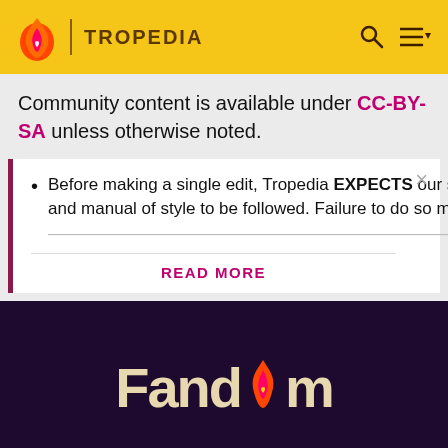TROPEDIA
Community content is available under CC-BY-SA unless otherwise noted.
Before making a single edit, Tropedia EXPECTS our site policy and manual of style to be followed. Failure to do so may
READ MORE
[Figure (logo): Fandom logo on dark purple background]
EXPLORE PROPERTIES